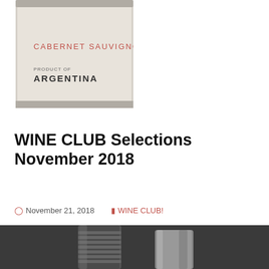[Figure (photo): Wine bottle label showing 'CABERNET SAUVIGNON' in red letters and 'PRODUCT OF ARGENTINA' in dark letters on a light grey/beige label background, cropped closeup of the bottle.]
WINE CLUB Selections November 2018
November 21, 2018   WINE CLUB!
[Figure (photo): Close-up photo of two wine bottle closures/capsules on a dark grey background — one on the left with horizontal ridged lines (screwcap style) and one on the right with a smoother metallic capsule, both partially cropped at the bottom of the frame.]